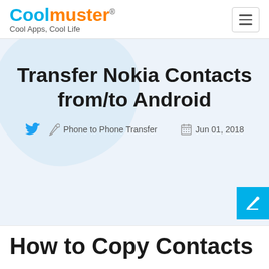Coolmuster® — Cool Apps, Cool Life
Transfer Nokia Contacts from/to Android
Phone to Phone Transfer   Jun 01, 2018
How to Copy Contacts